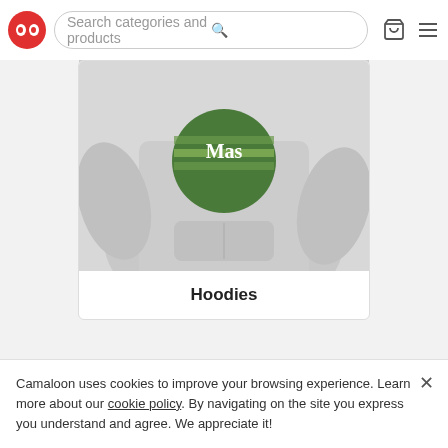Search categories and products
[Figure (photo): Gray hoodie sweatshirt with circular graphic print on chest, worn by a person, cropped view]
Hoodies
[Figure (photo): Woman with long blonde hair wearing a navy tank top with graphic print, partially visible]
Camaloon uses cookies to improve your browsing experience. Learn more about our cookie policy. By navigating on the site you express you understand and agree. We appreciate it!